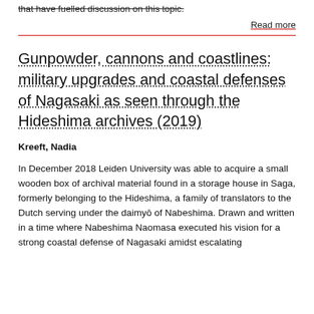that have fuelled discussion on this topic.
Read more
Gunpowder, cannons and coastlines: military upgrades and coastal defenses of Nagasaki as seen through the Hideshima archives (2019)
Kreeft, Nadia
In December 2018 Leiden University was able to acquire a small wooden box of archival material found in a storage house in Saga, formerly belonging to the Hideshima, a family of translators to the Dutch serving under the daimyō of Nabeshima. Drawn and written in a time where Nabeshima Naomasa executed his vision for a strong coastal defense of Nagasaki amidst escalating